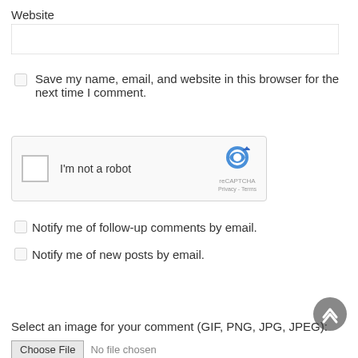Website
[Figure (screenshot): Text input field for Website URL]
Save my name, email, and website in this browser for the next time I comment.
[Figure (screenshot): reCAPTCHA widget with checkbox labeled I'm not a robot and reCAPTCHA logo with Privacy - Terms links]
Notify me of follow-up comments by email.
Notify me of new posts by email.
POST COMMENT
Select an image for your comment (GIF, PNG, JPG, JPEG):
Choose File   No file chosen